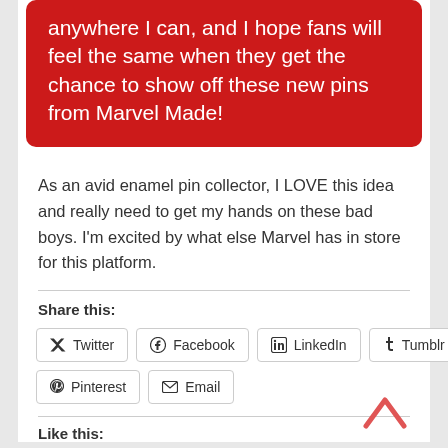anywhere I can, and I hope fans will feel the same when they get the chance to show off these new pins from Marvel Made!
As an avid enamel pin collector, I LOVE this idea and really need to get my hands on these bad boys. I'm excited by what else Marvel has in store for this platform.
Share this:
Twitter  Facebook  LinkedIn  Tumblr  Pinterest  Email
Like this: